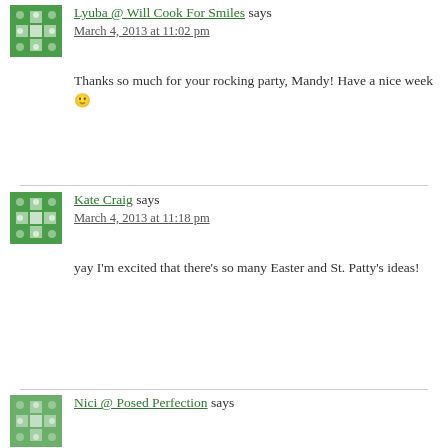[Figure (illustration): Green decorative avatar icon with snowflake/cross pattern for Lyuba]
Lyuba @ Will Cook For Smiles says
March 4, 2013 at 11:02 pm
Thanks so much for your rocking party, Mandy! Have a nice week 🙂
[Figure (illustration): Green decorative avatar icon with snowflake/cross pattern for Kate Craig]
Kate Craig says
March 4, 2013 at 11:18 pm
yay I'm excited that there's so many Easter and St. Patty's ideas!
[Figure (illustration): Green decorative avatar icon for Nici @ Posed Perfection]
Nici @ Posed Perfection says